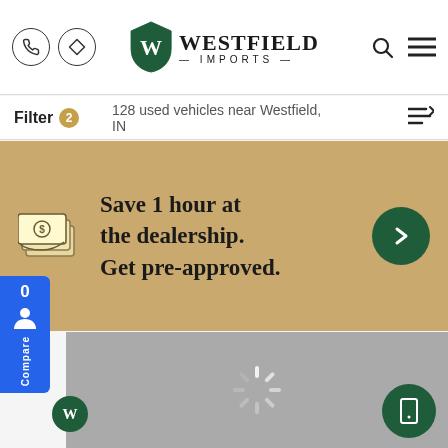[Figure (screenshot): Westfield Imports dealership website header with phone icon, map icon, Westfield Imports logo (shield with W), search icon, and hamburger menu icon]
Filter 2    128 used vehicles near Westfield, IN
Save 1 hour at the dealership. Get pre-approved.
[Figure (screenshot): Gray loading vehicle image area with spinner and green phone/mobile button overlay]